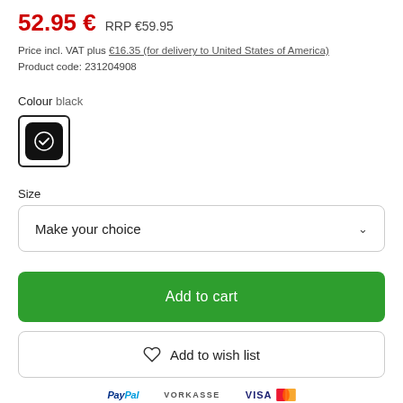52.95 € RRP €59.95
Price incl. VAT plus €16.35 (for delivery to United States of America)
Product code: 231204908
Colour black
[Figure (other): Black colour swatch square with white checkmark circle, selected state with bold border]
Size
Make your choice
Add to cart
Add to wish list
PayPal  VORKASSE  VISA